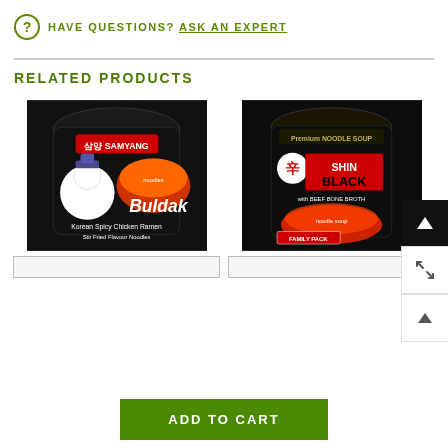? HAVE QUESTIONS? ASK AN EXPERT
RELATED PRODUCTS
[Figure (photo): Package of Buldak Korean Spicy Chicken Ramen stir-fried noodles, dark packaging with mascot character]
[Figure (photo): Package of Nongshim Shin Black Premium Noodle Soup with Beef Bone Broth, Family Pack, dark packaging with red branding]
ADD TO CART